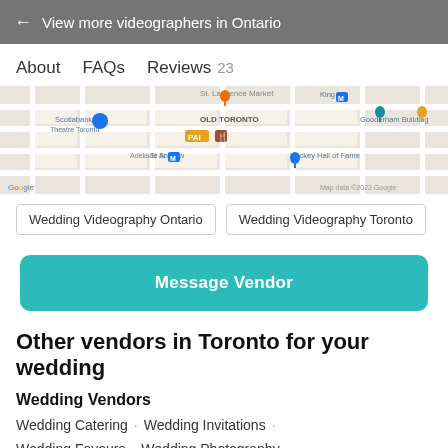← View more videographers in Ontario
About   FAQs   Reviews 23
[Figure (map): Google Maps view of Old Toronto area showing Scotiabank Theatre Toronto, St Andrew subway station, Hockey Hall of Fame, Gooderham Building, and surrounding streets. Map data ©2022 Google.]
Wedding Videography Ontario   Wedding Videography Toronto
Message Vendor
Other vendors in Toronto for your wedding
Wedding Vendors
Wedding Catering · Wedding Invitations ·
Wedding Favours · Wedding Photography ·